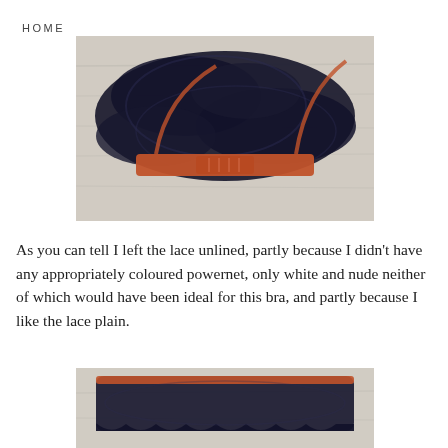HOME
[Figure (photo): Photo of a black lace bra with burnt orange/terracotta elastic band and clasp, laid flat on a light wood surface]
As you can tell I left the lace unlined, partly because I didn't have any appropriately coloured powernet, only white and nude neither of which would have been ideal for this bra, and partly because I like the lace plain.
[Figure (photo): Photo of black lace lingerie bottom/panty with terracotta orange trim, laid flat on a light wood surface]